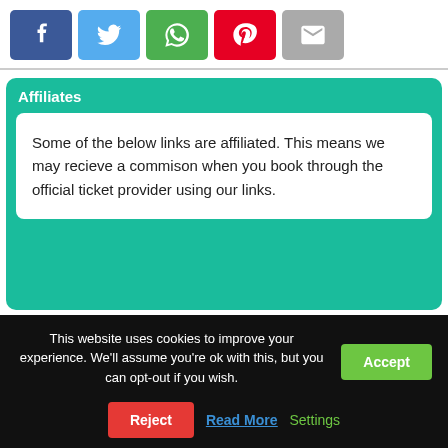[Figure (other): Row of social share buttons: Facebook (blue), Twitter (light blue), WhatsApp (green), Pinterest (red), Email (gray)]
Affiliates
Some of the below links are affiliated. This means we may recieve a commison when you book through the official ticket provider using our links.
This website uses cookies to improve your experience. We'll assume you're ok with this, but you can opt-out if you wish.
Accept
Reject
Read More
Settings